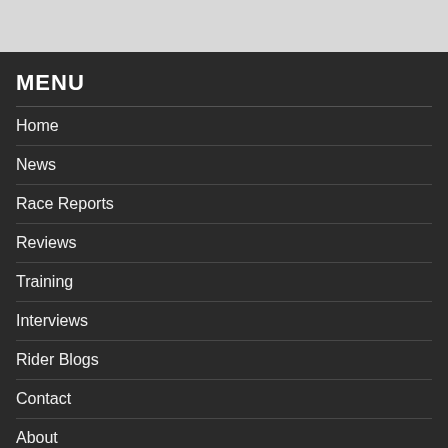MENU
Home
News
Race Reports
Reviews
Training
Interviews
Rider Blogs
Contact
About
Contact UKXCNews